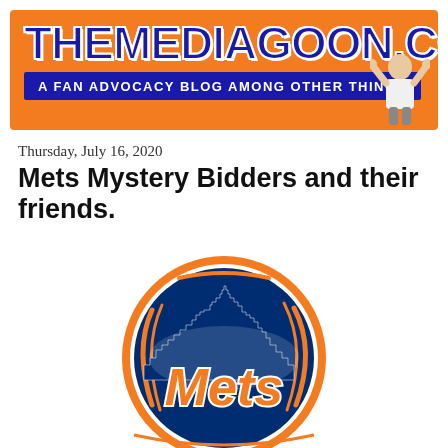THEMEDIAGOON.COM — A FAN ADVOCACY BLOG AMONG OTHER THINGS
Thursday, July 16, 2020
Mets Mystery Bidders and their friends.
[Figure (logo): New York Mets circular logo with orange ring, navy blue NYC skyline silhouette, white baseball stitching lines, and 'Mets' script in orange with white outline on dark blue background]